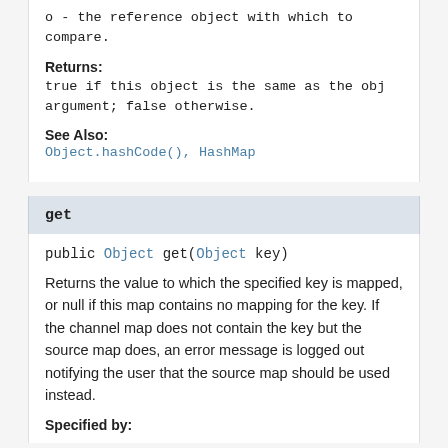o - the reference object with which to compare.
Returns:
true if this object is the same as the obj argument; false otherwise.
See Also:
Object.hashCode(), HashMap
get
public Object get(Object key)
Returns the value to which the specified key is mapped, or null if this map contains no mapping for the key. If the channel map does not contain the key but the source map does, an error message is logged out notifying the user that the source map should be used instead.
Specified by: